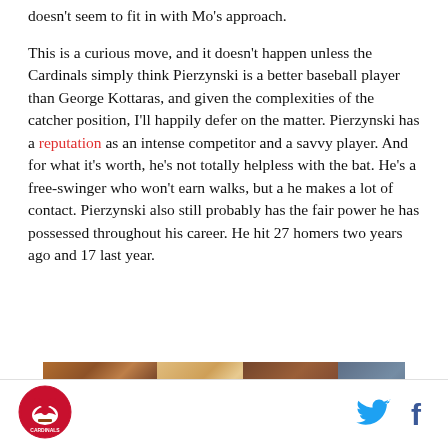doesn't seem to fit in with Mo's approach.
This is a curious move, and it doesn't happen unless the Cardinals simply think Pierzynski is a better baseball player than George Kottaras, and given the complexities of the catcher position, I'll happily defer on the matter. Pierzynski has a reputation as an intense competitor and a savvy player. And for what it's worth, he's not totally helpless with the bat. He's a free-swinger who won't earn walks, but a he makes a lot of contact. Pierzynski also still probably has the fair power he has possessed throughout his career. He hit 27 homers two years ago and 17 last year.
[Figure (photo): A partially visible image, appearing to show a crowd or sports event scene with warm orange and brown tones.]
Cardinals logo icon | Twitter icon | Facebook icon